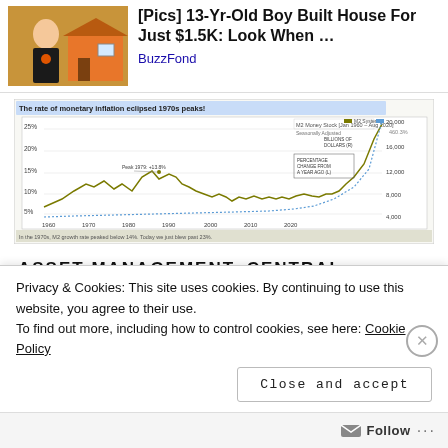[Figure (photo): Photo of a young boy standing in front of a small orange house]
[Pics] 13-Yr-Old Boy Built House For Just $1.5K: Look When …
BuzzFond
[Figure (line-chart): M2 Money Stock Jan 1960–Aug 2020 chart showing monetary inflation eclipsing 1970s peaks, with percentage change from a year ago and billions of dollars scales]
ASSET MANAGEMENT, CENTRAL BANKING, COMMODITY PRICE,
Privacy & Cookies: This site uses cookies. By continuing to use this website, you agree to their use.
To find out more, including how to control cookies, see here: Cookie Policy
Close and accept